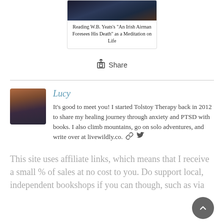[Figure (photo): A card with a dark landscape photo and title text 'Reading W.B. Yeats's "An Irish Airman Foresees His Death" as a Meditation on Life']
Share
Lucy
It's good to meet you! I started Tolstoy Therapy back in 2012 to share my healing journey through anxiety and PTSD with books. I also climb mountains, go on solo adventures, and write over at livewildly.co.
This site uses affiliate links, which means that I receive a small % of sales at no cost to you. Do support local, independent bookshops if you can though, such as via